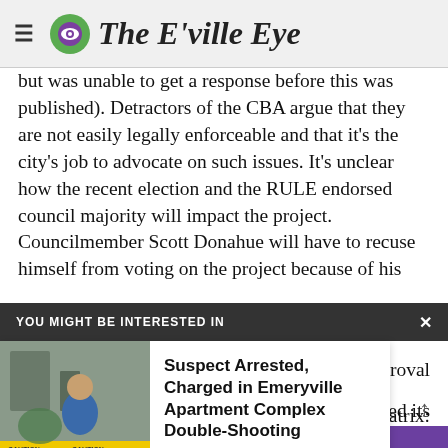The E'ville Eye
but was unable to get a response before this was published). Detractors of the CBA argue that they are not easily legally enforceable and that it's the city's job to advocate on such issues. It's unclear how the recent election and the RULE endorsed council majority will impact the project. Councilmember Scott Donahue will have to recuse himself from voting on the project because of his
r Council
ovide approval
olidated its
o this matrix:
[Figure (screenshot): YOU MIGHT BE INTERESTED IN overlay bar with close button X]
[Figure (photo): News recommendation card: photo of suspect arrest scene (police tape, figure in blue), headline: Suspect Arrested, Charged in Emeryville Apartment Complex Double-Shooting]